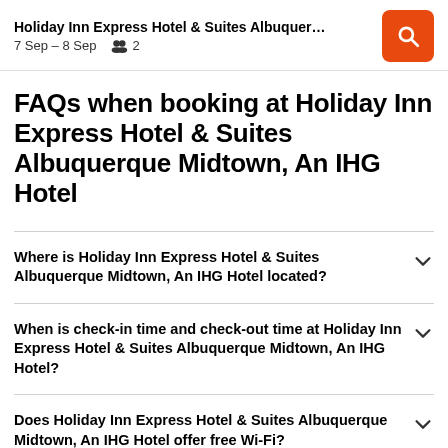Holiday Inn Express Hotel & Suites Albuquer…  7 Sep – 8 Sep  👥 2
FAQs when booking at Holiday Inn Express Hotel & Suites Albuquerque Midtown, An IHG Hotel
Where is Holiday Inn Express Hotel & Suites Albuquerque Midtown, An IHG Hotel located?
When is check-in time and check-out time at Holiday Inn Express Hotel & Suites Albuquerque Midtown, An IHG Hotel?
Does Holiday Inn Express Hotel & Suites Albuquerque Midtown, An IHG Hotel offer free Wi-Fi?